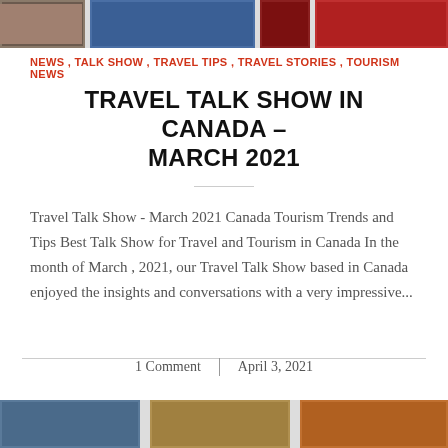[Figure (photo): Top strip of travel/tourism images partially visible at the top of the page]
NEWS , TALK SHOW , TRAVEL TIPS , TRAVEL STORIES , TOURISM NEWS
TRAVEL TALK SHOW IN CANADA – MARCH 2021
Travel Talk Show - March 2021 Canada Tourism Trends and Tips Best Talk Show for Travel and Tourism in Canada In the month of March , 2021, our Travel Talk Show based in Canada enjoyed the insights and conversations with a very impressive...
1 Comment | April 3, 2021
[Figure (photo): Bottom partial image strip of travel/tourism images]